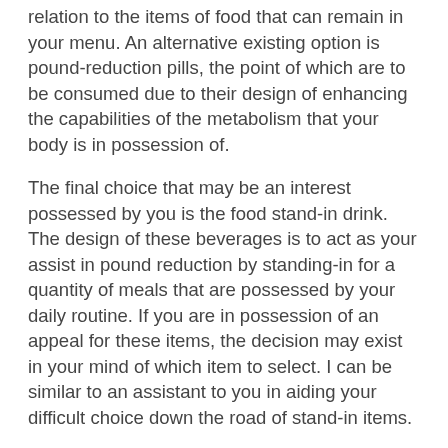relation to the items of food that can remain in your menu. An alternative existing option is pound-reduction pills, the point of which are to be consumed due to their design of enhancing the capabilities of the metabolism that your body is in possession of.
The final choice that may be an interest possessed by you is the food stand-in drink. The design of these beverages is to act as your assist in pound reduction by standing-in for a quantity of meals that are possessed by your daily routine. If you are in possession of an appeal for these items, the decision may exist in your mind of which item to select. I can be similar to an assistant to you in aiding your difficult choice down the road of stand-in items.
Do You Know the Best Diet Shakes of 2022?